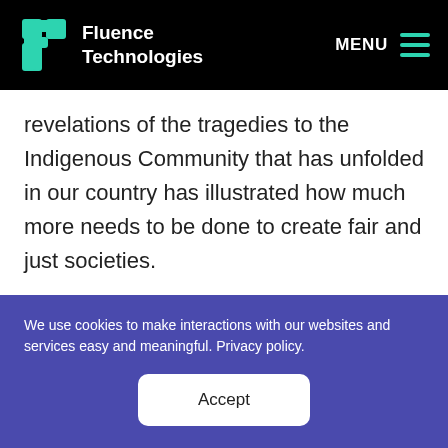Fluence Technologies | MENU
revelations of the tragedies to the Indigenous Community that has unfolded in our country has illustrated how much more needs to be done to create fair and just societies.
The time of burying our heads in the sand around these atrocities is over and is one that must be addressed by all of us - in particular, those of us who
We use cookies to make interactions with our websites and services easy and meaningful. Privacy policy.
Accept